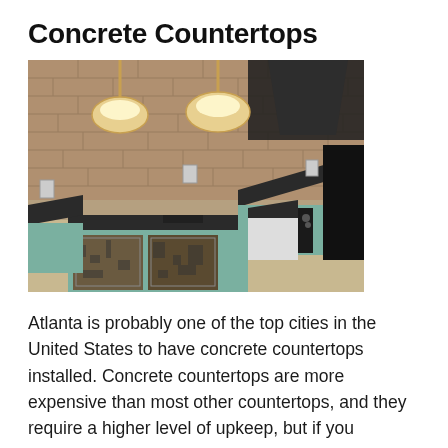Concrete Countertops
[Figure (photo): Kitchen interior with dark concrete countertops on an island and perimeter counters, light teal/mint cabinetry, exposed brick backsplash, two pendant lights, and black appliances.]
Atlanta is probably one of the top cities in the United States to have concrete countertops installed. Concrete countertops are more expensive than most other countertops, and they require a higher level of upkeep, but if you